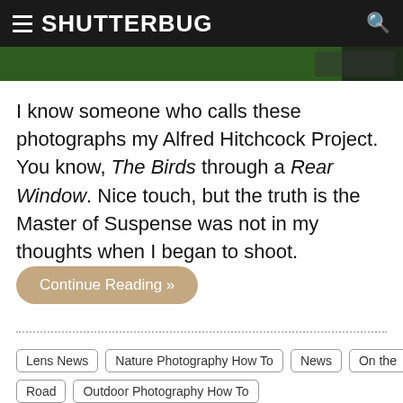SHUTTERBUG
[Figure (photo): Partial view of a nature/bird photograph with green and dark tones]
I know someone who calls these photographs my Alfred Hitchcock Project. You know, The Birds through a Rear Window. Nice touch, but the truth is the Master of Suspense was not in my thoughts when I began to shoot.
Continue Reading »
Lens News
Nature Photography How To
News
On the Road
Outdoor Photography How To